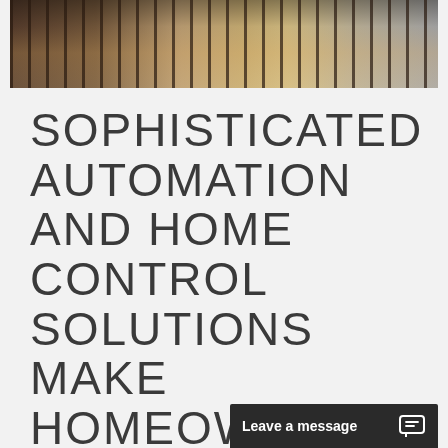[Figure (photo): Partial photo of a room with wooden furniture/flooring, warm tones, cropped at top of page]
SOPHISTICATED AUTOMATION AND HOME CONTROL SOLUTIONS MAKE HOMEOWNERS HAPPIER
Homeowners desire excitement in their homes. That excitement doesn't need to be bold or in their face either. Their homes
[Figure (screenshot): Chat widget bar at bottom right with text 'Leave a message' and a chat bubble icon, dark background]